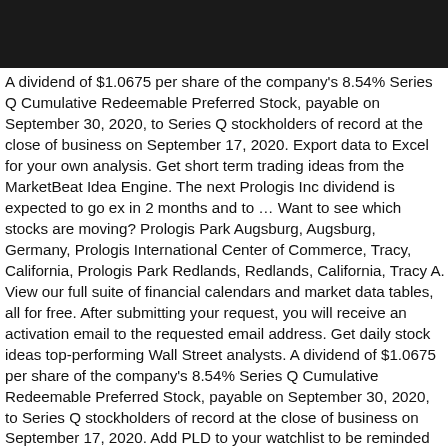[Figure (other): Black header bar at top of page]
A dividend of $1.0675 per share of the company's 8.54% Series Q Cumulative Redeemable Preferred Stock, payable on September 30, 2020, to Series Q stockholders of record at the close of business on September 17, 2020. Export data to Excel for your own analysis. Get short term trading ideas from the MarketBeat Idea Engine. The next Prologis Inc dividend is expected to go ex in 2 months and to … Want to see which stocks are moving? Prologis Park Augsburg, Augsburg, Germany, Prologis International Center of Commerce, Tracy, California, Prologis Park Redlands, Redlands, California, Tracy A. View our full suite of financial calendars and market data tables, all for free. After submitting your request, you will receive an activation email to the requested email address. Get daily stock ideas top-performing Wall Street analysts. A dividend of $1.0675 per share of the company's 8.54% Series Q Cumulative Redeemable Preferred Stock, payable on September 30, 2020, to Series Q stockholders of record at the close of business on September 17, 2020. Add PLD to your watchlist to be reminded before PLD's ex-dividend date. The beta is 0.81, so Prologis's price volatility has been lower than the market average. See what's happening in the